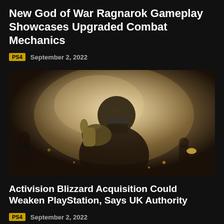New God of War Ragnarok Gameplay Showcases Upgraded Combat Mechanics
PS4   September 2, 2022
[Figure (photo): A masked military soldier in tactical gear giving a thumbs up toward the camera, with other soldiers and an explosion in the dark background — a Call of Duty promotional image.]
Activision Blizzard Acquisition Could Weaken PlayStation, Says UK Authority
PS4   September 2, 2022